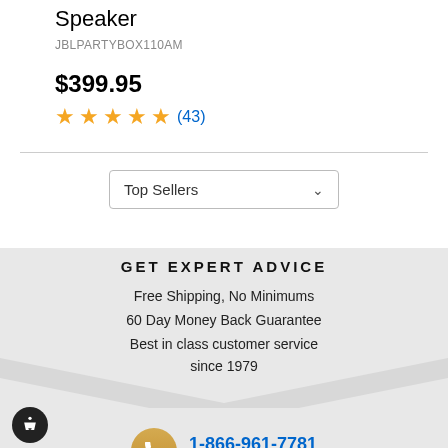Speaker
JBLPARTYBOX110AM
$399.95
★★★★★ (43)
Top Sellers
GET EXPERT ADVICE
Free Shipping, No Minimums
60 Day Money Back Guarantee
Best in class customer service since 1979
1-866-961-7781 Call us Toll Free
Live Chat